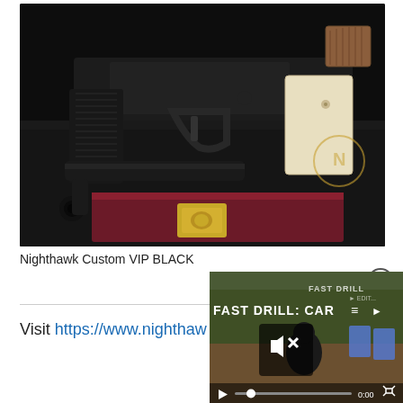[Figure (photo): Close-up product photo of a Nighthawk Custom VIP BLACK 1911 pistol with engraved black finish and ivory-colored grip panels, displayed on a dark gun case with a maroon leather interior and gold hardware.]
Nighthawk Custom VIP BLACK
[Figure (screenshot): Video overlay showing a shooting drill video titled 'FAST DRILL: CAR...' with a mute button, play controls, progress bar showing 0:00, and blue target silhouettes visible in the background.]
Visit https://www.nighthaw